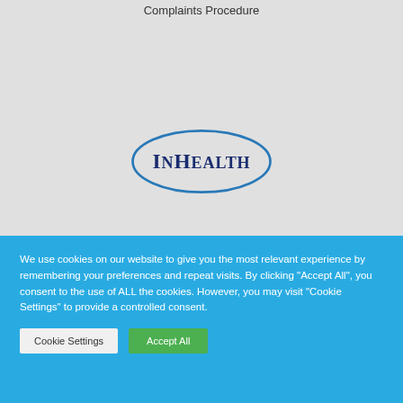Complaints Procedure
[Figure (logo): InHealth logo: blue oval outline with 'INHEALTH' text in dark navy, serif font, capital letters]
We use cookies on our website to give you the most relevant experience by remembering your preferences and repeat visits. By clicking "Accept All", you consent to the use of ALL the cookies. However, you may visit "Cookie Settings" to provide a controlled consent.
Cookie Settings
Accept All